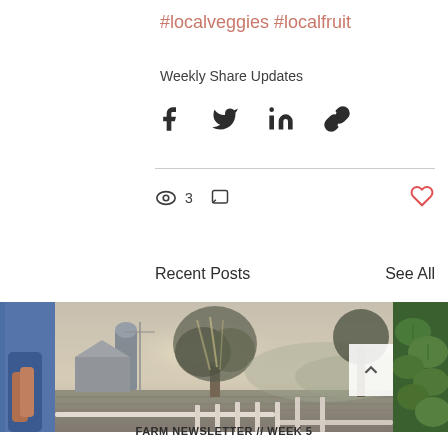#localveggies #localfruit
Weekly Share Updates
[Figure (infographic): Social share icons: Facebook, Twitter, LinkedIn, link/chain]
[Figure (infographic): Stats row: eye icon with count 3, comment bubble icon, heart icon (red/outline)]
Recent Posts
See All
[Figure (photo): Three images side by side: partial image of person in blue on left, center landscape photo of farm with silo, large tree, misty morning light, fence, fields; partial green plant/herb image on right. Navigation chevron/arrow button overlaid on right side of center image.]
FARM NEWSLETTER // WEEK 5